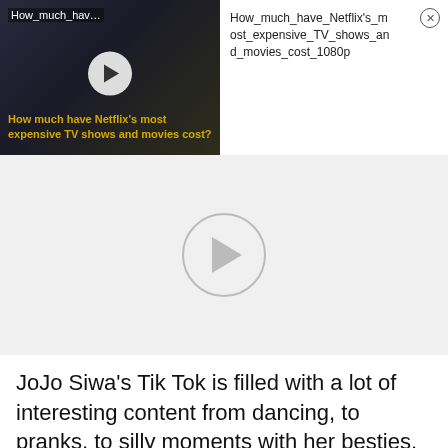[Figure (screenshot): Thumbnail of Netflix video titled 'How much have Netflix's most expensive TV shows and movies cost?' with dark background showing two figures and a play button]
How_much_have_Netflix's_most_expensive_TV_shows_and_movies_cost_1080p
[Figure (screenshot): Large video player area with circular play button on light gray background]
JoJo Siwa's Tik Tok is filled with a lot of interesting content from dancing, to pranks, to silly moments with her besties. JoJo Siwa's TikTok currently has over 36.2 million followers